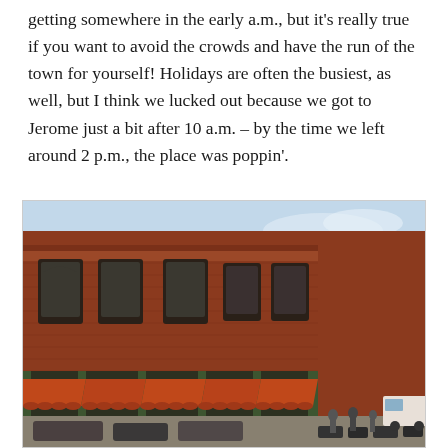getting somewhere in the early a.m., but it's really true if you want to avoid the crowds and have the run of the town for yourself! Holidays are often the busiest, as well, but I think we lucked out because we got to Jerome just a bit after 10 a.m. – by the time we left around 2 p.m., the place was poppin'.
[Figure (photo): Street-level photo of a historic red brick building in Jerome, Arizona, with orange/red awnings along the storefronts, cars parked in front, and a blue sky above.]